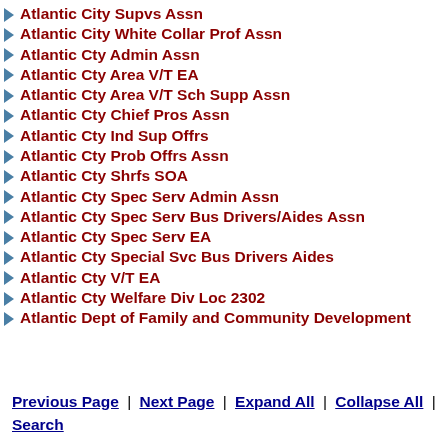Atlantic City Supvs Assn
Atlantic City White Collar Prof Assn
Atlantic Cty Admin Assn
Atlantic Cty Area V/T EA
Atlantic Cty Area V/T Sch Supp Assn
Atlantic Cty Chief Pros Assn
Atlantic Cty Ind Sup Offrs
Atlantic Cty Prob Offrs Assn
Atlantic Cty Shrfs SOA
Atlantic Cty Spec Serv Admin Assn
Atlantic Cty Spec Serv Bus Drivers/Aides Assn
Atlantic Cty Spec Serv EA
Atlantic Cty Special Svc Bus Drivers Aides
Atlantic Cty V/T EA
Atlantic Cty Welfare Div Loc 2302
Atlantic Dept of Family and Community Development
Previous Page | Next Page | Expand All | Collapse All | Search